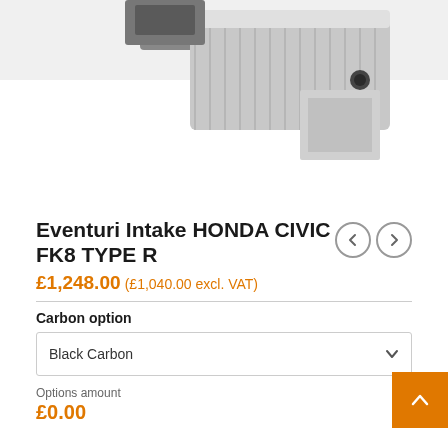[Figure (photo): Partial product image of an Eventuri intake system — silver/carbon fiber air intake component photographed on white background, showing the top and side of the unit.]
Eventuri Intake HONDA CIVIC FK8 TYPE R
£1,248.00 (£1,040.00 excl. VAT)
Carbon option
Black Carbon
Options amount
£0.00